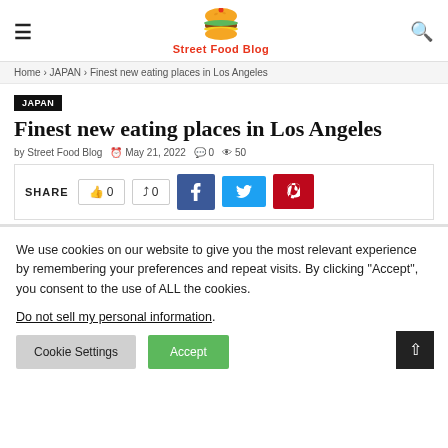Street Food Blog
Home > JAPAN > Finest new eating places in Los Angeles
JAPAN
Finest new eating places in Los Angeles
by Street Food Blog  May 21, 2022  0  50
SHARE 0 0
We use cookies on our website to give you the most relevant experience by remembering your preferences and repeat visits. By clicking "Accept", you consent to the use of ALL the cookies.
Do not sell my personal information.
Cookie Settings  Accept